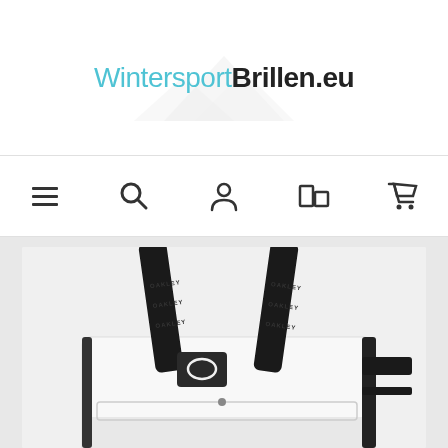WintersportBrillen.eu
[Figure (screenshot): Website navigation bar with menu, search, account, compare, and cart icons]
[Figure (photo): White and black Oakley tote bag with black straps bearing Oakley branding text, photographed from above at an angle]